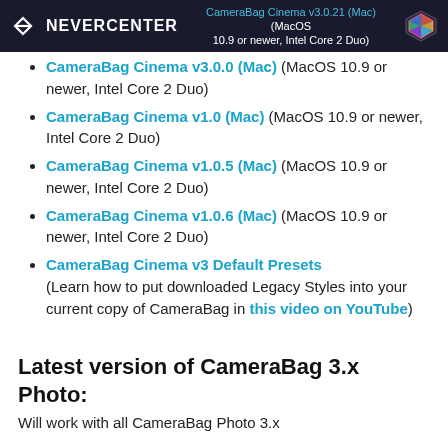NEVERCENTER | CameraBag Cinema v3.0.21 (Mac) (MacOS 10.9 or newer, Intel Core 2 Duo)
CameraBag Cinema v3.0.0 (Mac) (MacOS 10.9 or newer, Intel Core 2 Duo)
CameraBag Cinema v1.0 (Mac) (MacOS 10.9 or newer, Intel Core 2 Duo)
CameraBag Cinema v1.0.5 (Mac) (MacOS 10.9 or newer, Intel Core 2 Duo)
CameraBag Cinema v1.0.6 (Mac) (MacOS 10.9 or newer, Intel Core 2 Duo)
CameraBag Cinema v3 Default Presets (Learn how to put downloaded Legacy Styles into your current copy of CameraBag in this video on YouTube)
Latest version of CameraBag 3.x Photo:
Will work with all CameraBag Photo 3.x